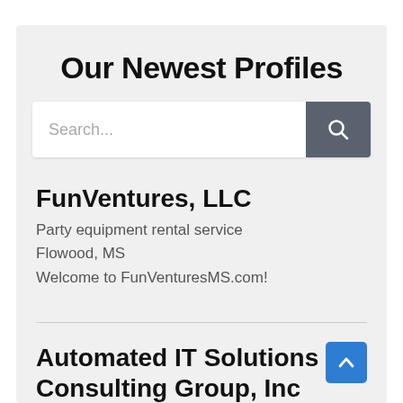Our Newest Profiles
Search...
FunVentures, LLC
Party equipment rental service
Flowood, MS
Welcome to FunVenturesMS.com!
Automated IT Solutions Consulting Group, Inc